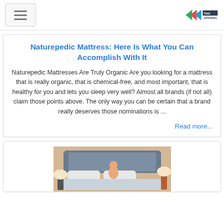Hamburger menu | TAKI APPAREL logo
Naturepedic Mattress: Here Is What You Can Accomplish With It
Naturepedic Mattresses Are Truly Organic Are you looking for a mattress that is really organic, that is chemical-free, and most important, that is healthy for you and lets you sleep very well? Almost all brands (if not all) claim those points above. The only way you can be certain that a brand really deserves those nominations is ...
Read more...
[Figure (photo): Woman sitting on a bed in a bedroom, with lamps on bedside tables]